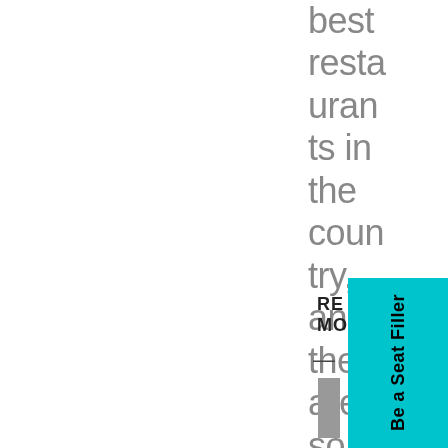best restaurants in the country, and there are so
RE MO — [gray bar]
[Figure (other): Teal/cyan colored box with rotated text 'Be a Seat Filler']